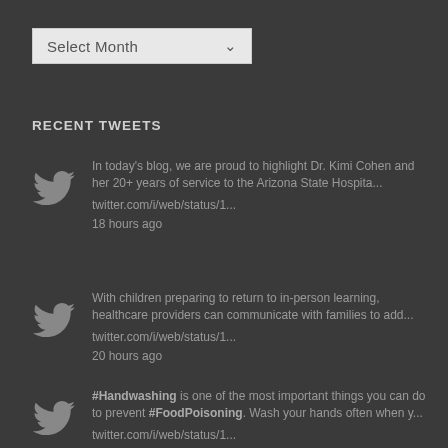[Figure (screenshot): Select Month dropdown widget with light grey background and down arrow]
RECENT TWEETS
In today's blog, we are proud to highlight Dr. Kimi Cohen and her 20+ years of service to the Arizona State Hospita... twitter.com/i/web/status/1... 18 hours ago
With children preparing to return to in-person learning, healthcare providers can communicate with families to add... twitter.com/i/web/status/1... 20 hours ago
#Handwashing is one of the most important things you can do to prevent #FoodPoisoning. Wash your hands often when y... twitter.com/i/web/status/1... 21 hours ago